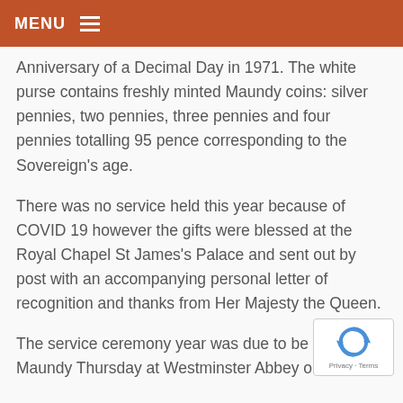MENU
Anniversary of a Decimal Day in 1971. The white purse contains freshly minted Maundy coins: silver pennies, two pennies, three pennies and four pennies totalling 95 pence corresponding to the Sovereign’s age.
There was no service held this year because of COVID 19 however the gifts were blessed at the Royal Chapel St James’s Palace and sent out by post with an accompanying personal letter of recognition and thanks from Her Majesty the Queen.
The service ceremony year was due to be h… on Maundy Thursday at Westminster Abbey on…